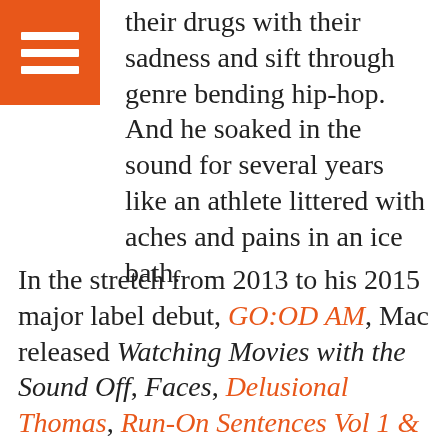[Figure (other): Orange hamburger menu icon with three white horizontal bars on an orange square background]
their drugs with their sadness and sift through genre bending hip-hop. And he soaked in the sound for several years like an athlete littered with aches and pains in an ice bath.
In the stretch from 2013 to his 2015 major label debut, GO:OD AM, Mac released Watching Movies with the Sound Off, Faces, Delusional Thomas, Run-On Sentences Vol 1 & 2, Live from Space, and produced Stolen Youth for Vince Staples. While Watching Movies is the only studio release in this group, this phase of Mac's career was his defining moment, the period that moved him beyond the frat rap of Blue Slide Park and early mixtapes. This wave of experimentation as both Mac Miller and Larry Fisherman launched him into a major label deal with Warner that allowed the freedom of CO:OD